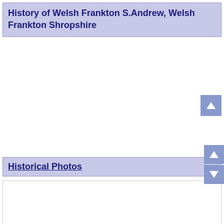History of Welsh Frankton S.Andrew, Welsh Frankton Shropshire
[Figure (screenshot): Scroll up button (arrow up icon) in a blue-purple square, used for page navigation]
Historical Photos
[Figure (photo): White photo area with large faint gray text partially visible at bottom reading partial letters of 'Aerial Photo' or similar]
[Figure (screenshot): Two scroll navigation buttons (up and down arrows) in blue-purple squares on the right side]